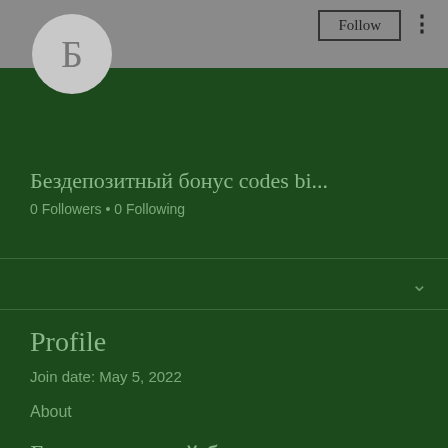[Figure (illustration): User profile avatar circle with Cyrillic letter Б on grey background]
Бездепозитный бонус codes bi...
0 Followers • 0 Following
Profile
Join date: May 5, 2022
About
Бездепозитный бонус codes bitstarz, bitstarz